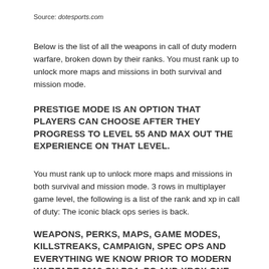Source: dotesports.com
Below is the list of all the weapons in call of duty modern warfare, broken down by their ranks. You must rank up to unlock more maps and missions in both survival and mission mode.
PRESTIGE MODE IS AN OPTION THAT PLAYERS CAN CHOOSE AFTER THEY PROGRESS TO LEVEL 55 AND MAX OUT THE EXPERIENCE ON THAT LEVEL.
You must rank up to unlock more maps and missions in both survival and mission mode. 3 rows in multiplayer game level, the following is a list of the rank and xp in call of duty: The iconic black ops series is back.
WEAPONS, PERKS, MAPS, GAME MODES, KILLSTREAKS, CAMPAIGN, SPEC OPS AND EVERYTHING WE KNOW PRIOR TO MODERN WARFARE 2019 ON PS4, PC AND XBOX ONE